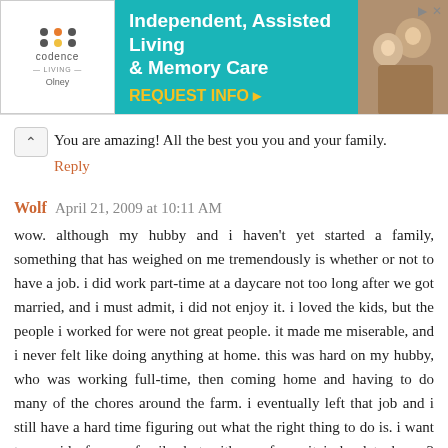[Figure (other): Codence Living advertisement banner for Independent, Assisted Living & Memory Care in Olney with teal background and photo of elderly people]
You are amazing! All the best you you and your family.
Reply
Wolf  April 21, 2009 at 10:11 AM
wow. although my hubby and i haven't yet started a family, something that has weighed on me tremendously is whether or not to have a job. i did work part-time at a daycare not too long after we got married, and i must admit, i did not enjoy it. i loved the kids, but the people i worked for were not great people. it made me miserable, and i never felt like doing anything at home. this was hard on my hubby, who was working full-time, then coming home and having to do many of the chores around the farm. i eventually left that job and i still have a hard time figuring out what the right thing to do is. i want to provide for my family, but with our farm, it is hard to have 2 people working full-time. i've settled on substitute teaching right now, since i can pick and